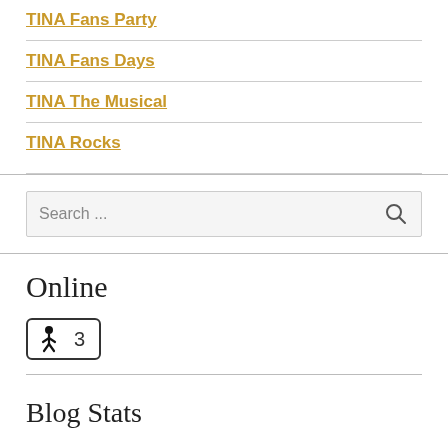TINA Fans Party
TINA Fans Days
TINA The Musical
TINA Rocks
Search ...
Online
3
Blog Stats